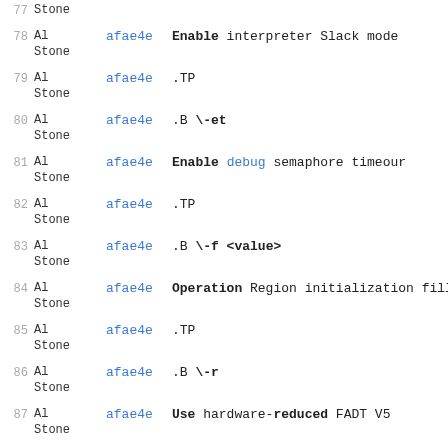77 Al Stone afae4e (partial top)
78 Al Stone afae4e Enable interpreter Slack mode
79 Al Stone afae4e .TP
80 Al Stone afae4e .B \-et
81 Al Stone afae4e Enable debug semaphore timeour
82 Al Stone afae4e .TP
83 Al Stone afae4e .B \-f <value>
84 Al Stone afae4e Operation Region initialization fill va
85 Al Stone afae4e .TP
86 Al Stone afae4e .B \-r
87 Al Stone afae4e Use hardware-reduced FADT V5
88 Al (partial bottom)